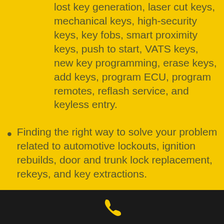lost key generation, laser cut keys, mechanical keys, high-security keys, key fobs, smart proximity keys, push to start, VATS keys, new key programming, erase keys, add keys, program ECU, program remotes, reflash service, and keyless entry.
Finding the right way to solve your problem related to automotive lockouts, ignition rebuilds, door and trunk lock replacement, rekeys, and key extractions.
For our professional staff, the make and model of the vehicle are not important.
[Figure (illustration): Yellow phone/call icon on black footer bar]